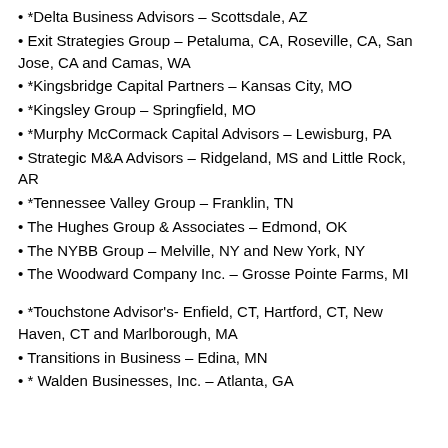*Delta Business Advisors – Scottsdale, AZ
Exit Strategies Group – Petaluma, CA, Roseville, CA, San Jose, CA and Camas, WA
*Kingsbridge Capital Partners – Kansas City, MO
*Kingsley Group – Springfield, MO
*Murphy McCormack Capital Advisors – Lewisburg, PA
Strategic M&A Advisors – Ridgeland, MS and Little Rock, AR
*Tennessee Valley Group – Franklin, TN
The Hughes Group & Associates – Edmond, OK
The NYBB Group – Melville, NY and New York, NY
The Woodward Company Inc. – Grosse Pointe Farms, MI
*Touchstone Advisor's- Enfield, CT, Hartford, CT, New Haven, CT and Marlborough, MA
Transitions in Business – Edina, MN
* Walden Businesses, Inc. – Atlanta, GA